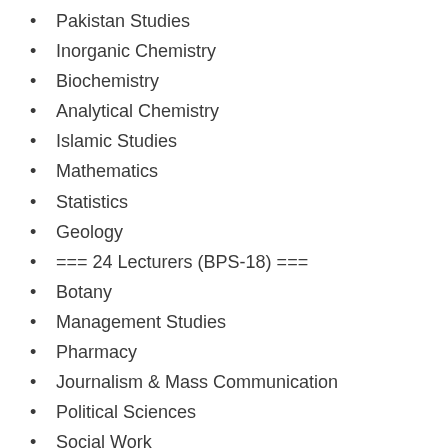Pakistan Studies
Inorganic Chemistry
Biochemistry
Analytical Chemistry
Islamic Studies
Mathematics
Statistics
Geology
=== 24 Lecturers (BPS-18) ===
Botany
Management Studies
Pharmacy
Journalism & Mass Communication
Political Sciences
Social Work
Tourism & Hotel Management
Psychology
Statistics
Geology
Islamic Studies
English
Botany cum Herbarium Curator